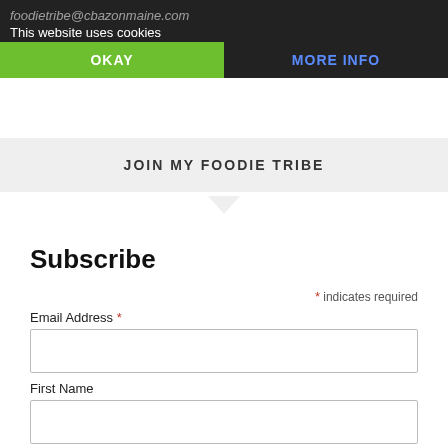foodietribe@cbazonmaine.com
This website uses cookies
OKAY
MORE INFO
JOIN MY FOODIE TRIBE
Subscribe
* indicates required
Email Address *
First Name
SUBSCRIBE